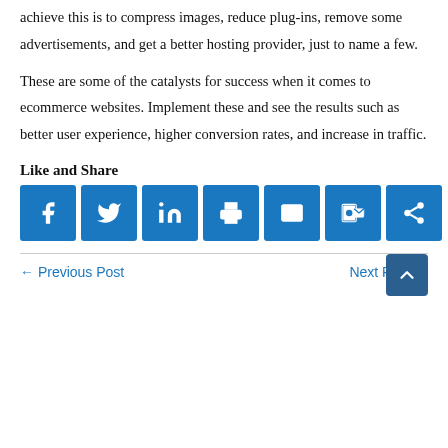achieve this is to compress images, reduce plug-ins, remove some advertisements, and get a better hosting provider, just to name a few.
These are some of the catalysts for success when it comes to ecommerce websites. Implement these and see the results such as better user experience, higher conversion rates, and increase in traffic.
Like and Share
[Figure (infographic): Row of 7 social share buttons: Facebook, Twitter, LinkedIn, Print, Email, Outlook, Share]
← Previous Post    Next Post →